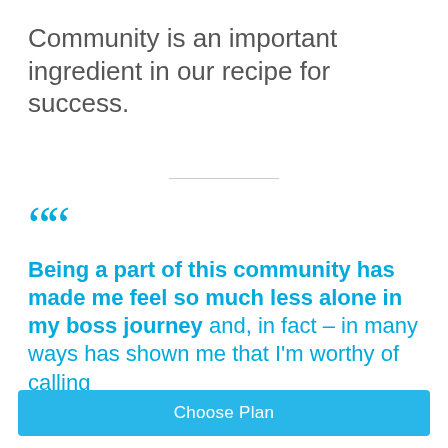Community is an important ingredient in our recipe for success.
““ Being a part of this community has made me feel so much less alone in my boss journey and, in fact – in many ways has shown me that I'm worthy of calling
Choose Plan